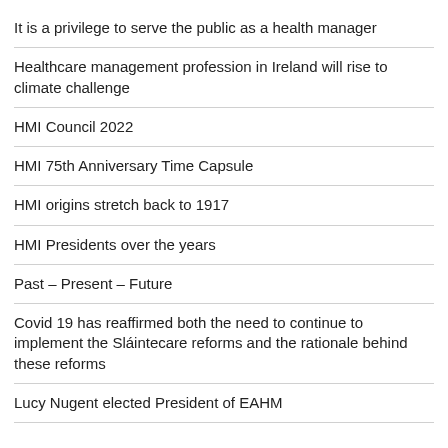It is a privilege to serve the public as a health manager
Healthcare management profession in Ireland will rise to climate challenge
HMI Council 2022
HMI 75th Anniversary Time Capsule
HMI origins stretch back to 1917
HMI Presidents over the years
Past – Present – Future
Covid 19 has reaffirmed both the need to continue to implement the Sláintecare reforms and the rationale behind these reforms
Lucy Nugent elected President of EAHM